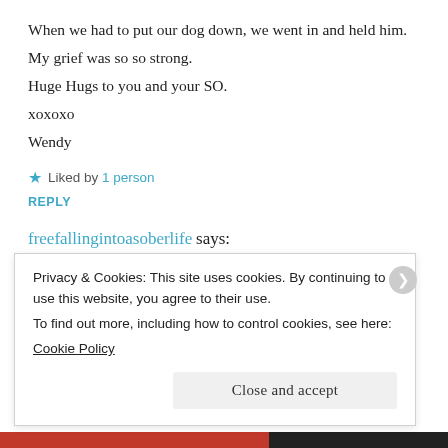When we had to put our dog down, we went in and held him.
My grief was so so strong.
Huge Hugs to you and your SO.
xoxoxo
Wendy
★ Liked by 1 person
REPLY
freefallingintoasoberlife says:
November 30, 2016 at 2:08 am
Thank you!
Privacy & Cookies: This site uses cookies. By continuing to use this website, you agree to their use.
To find out more, including how to control cookies, see here:
Cookie Policy
Close and accept